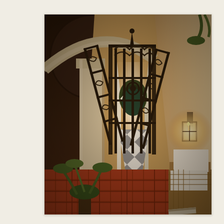[Figure (photo): Interior hallway of a colonial-style building at night. Stone column on the left with an arch above. Ornate wrought-iron gate open in the center foreground, leading to a corridor with black-and-white diamond-patterned tile floor. Beyond the gate, an arched doorway opens to an outdoor courtyard with lush greenery. Red terracotta tiles on the near floor. Wall sconce lantern glowing warmly on the right wall. A rattan sofa with white cushions visible at bottom right.]